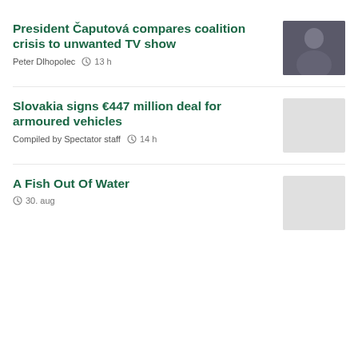President Čaputová compares coalition crisis to unwanted TV show
Peter Dlhopolec  13 h
[Figure (photo): Portrait photo of a man in a suit, looking downward]
Slovakia signs €447 million deal for armoured vehicles
Compiled by Spectator staff  14 h
[Figure (photo): Gray placeholder thumbnail]
A Fish Out Of Water
30. aug
[Figure (photo): Gray placeholder thumbnail]